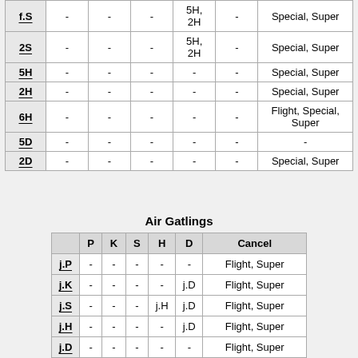|  | P | K | S | H | D | Cancel |
| --- | --- | --- | --- | --- | --- | --- |
| f.S | - | - | - | 5H, 2H | - | Special, Super |
| 2S | - | - | - | 5H, 2H | - | Special, Super |
| 5H | - | - | - | - | - | Special, Super |
| 2H | - | - | - | - | - | Special, Super |
| 6H | - | - | - | - | - | Flight, Special, Super |
| 5D | - | - | - | - | - | - |
| 2D | - | - | - | - | - | Special, Super |
Air Gatlings
|  | P | K | S | H | D | Cancel |
| --- | --- | --- | --- | --- | --- | --- |
| j.P | - | - | - | - | - | Flight, Super |
| j.K | - | - | - | - | j.D | Flight, Super |
| j.S | - | - | - | j.H | j.D | Flight, Super |
| j.H | - | - | - | - | j.D | Flight, Super |
| j.D | - | - | - | - | - | Flight, Super |